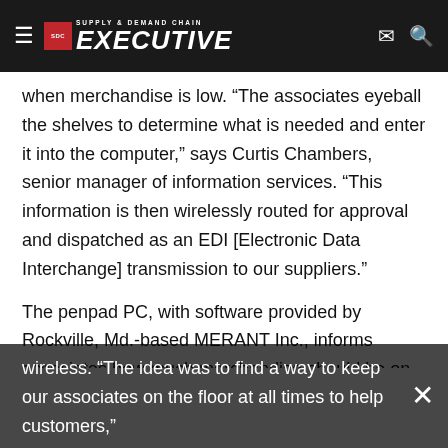Supply & Demand Chain Executive
when merchandise is low. “The associates eyeball the shelves to determine what is needed and enter it into the computer,” says Curtis Chambers, senior manager of information services. “This information is then wirelessly routed for approval and dispatched as an EDI [Electronic Data Interchange] transmission to our suppliers.”
The penpad PC, with software provided by Rockville, Md.-based MERANT Inc., informs associates how much merchandise should be on shelves, given current sales experience and market data. Despite these supply chain benefits, that’s not the main reason why Home Depot went wireless. “The idea was to find a way to keep our associates on the floor at all times to help customers,”